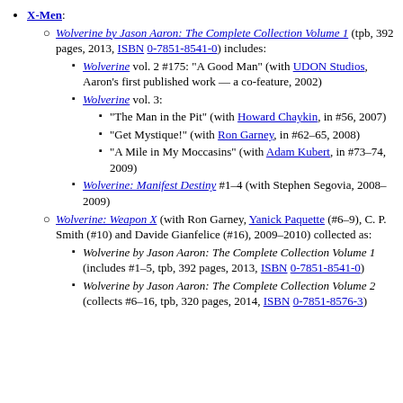X-Men:
Wolverine by Jason Aaron: The Complete Collection Volume 1 (tpb, 392 pages, 2013, ISBN 0-7851-8541-0) includes:
Wolverine vol. 2 #175: "A Good Man" (with UDON Studios, Aaron's first published work — a co-feature, 2002)
Wolverine vol. 3:
"The Man in the Pit" (with Howard Chaykin, in #56, 2007)
"Get Mystique!" (with Ron Garney, in #62–65, 2008)
"A Mile in My Moccasins" (with Adam Kubert, in #73–74, 2009)
Wolverine: Manifest Destiny #1–4 (with Stephen Segovia, 2008–2009)
Wolverine: Weapon X (with Ron Garney, Yanick Paquette (#6–9), C. P. Smith (#10) and Davide Gianfelice (#16), 2009–2010) collected as:
Wolverine by Jason Aaron: The Complete Collection Volume 1 (includes #1–5, tpb, 392 pages, 2013, ISBN 0-7851-8541-0)
Wolverine by Jason Aaron: The Complete Collection Volume 2 (collects #6–16, tpb, 320 pages, 2014, ISBN 0-7851-8576-3)